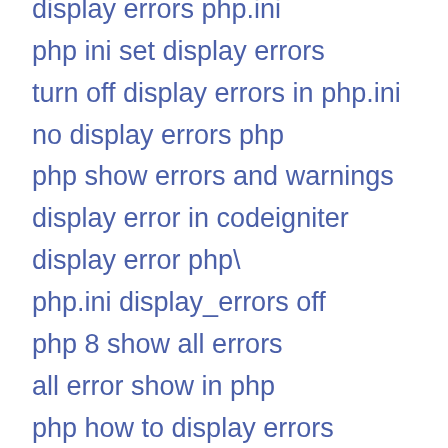display errors php.ini
php ini set display errors
turn off display errors in php.ini
no display errors php
php show errors and warnings
display error in codeigniter
display error php\
php.ini display_errors off
php 8 show all errors
all error show in php
php how to display errors
display all php error
php info show errors
php display_errors ON